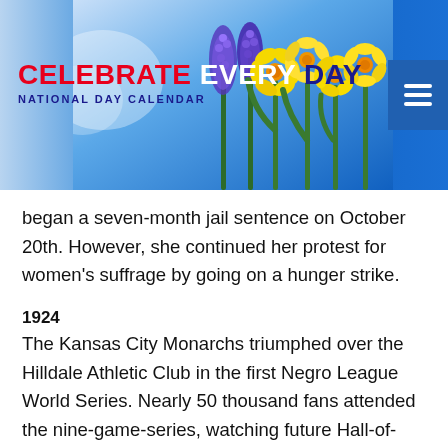[Figure (illustration): Website header banner for 'Celebrate Every Day - National Day Calendar' with blue sky background, yellow daffodils and purple grape hyacinth flowers on the right, red/white/navy brand text on the left, and a hamburger menu icon on the far right.]
began a seven-month jail sentence on October 20th. However, she continued her protest for women’s suffrage by going on a hunger strike.
1924
The Kansas City Monarchs triumphed over the Hilldale Athletic Club in the first Negro League World Series. Nearly 50 thousand fans attended the nine-game-series, watching future Hall-of-Famers such as Judy Johnson and Bullet Rogan.